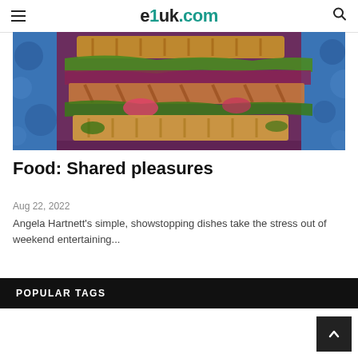e1uk.com
[Figure (photo): Close-up photo of layered sandwich or flatbread with colorful fillings including vegetables, greens, and grilled meat on a decorative blue plate background]
Food: Shared pleasures
Aug 22, 2022
Angela Hartnett's simple, showstopping dishes take the stress out of weekend entertaining...
POPULAR TAGS